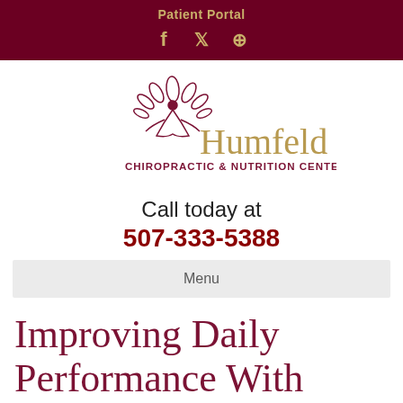Patient Portal
[Figure (logo): Social media icons: Facebook, Twitter, Pinterest in gold on dark red background]
[Figure (logo): Humfeld Chiropractic & Nutrition Center logo with decorative tree/yoga figure in maroon and gold]
Call today at
507-333-5388
Menu
Improving Daily Performance With